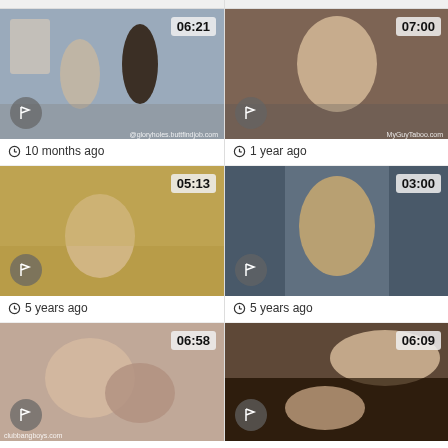[Figure (photo): Video thumbnail grid showing 6 video thumbnails in a 2-column layout with duration timestamps and metadata]
10 months ago
1 year ago
5 years ago
5 years ago